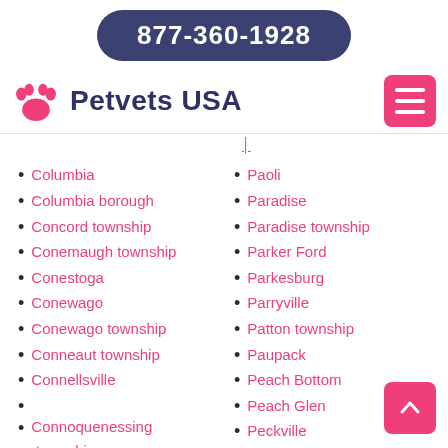877-360-1928
Petvets USA
Columbia
Columbia borough
Concord township
Conemaugh township
Conestoga
Conewago
Conewago township
Conneaut township
Connellsville
Connoquenessing township
Conshohocken
Paoli
Paradise
Paradise township
Parker Ford
Parkesburg
Parryville
Patton township
Paupack
Peach Bottom
Peach Glen
Peckville
Pen Argyl